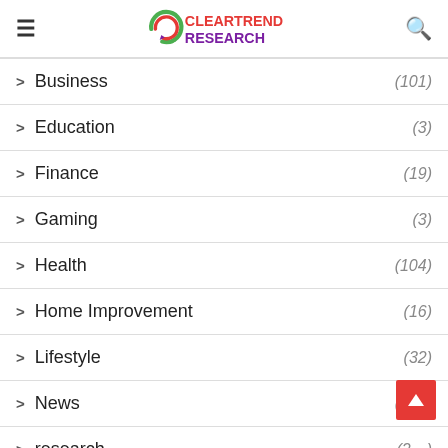ClearTrend Research — navigation header with hamburger menu and search icon
> Business (101)
> Education (3)
> Finance (19)
> Gaming (3)
> Health (104)
> Home Improvement (16)
> Lifestyle (32)
> News (200)
> research (2…)